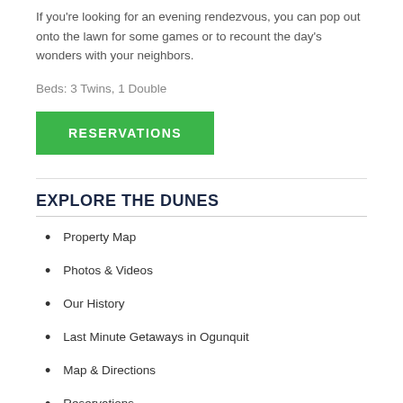If you're looking for an evening rendezvous, you can pop out onto the lawn for some games or to recount the day's wonders with your neighbors.
Beds: 3 Twins, 1 Double
RESERVATIONS
EXPLORE THE DUNES
Property Map
Photos & Videos
Our History
Last Minute Getaways in Ogunquit
Map & Directions
Reservations